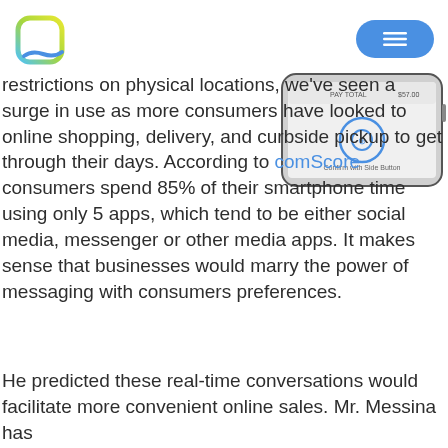[Figure (logo): Chat/messaging app logo — rounded square icon with green-to-yellow gradient outline and blue wave at bottom]
[Figure (screenshot): iPhone screenshot showing Apple Pay payment screen with 'PAY TOTAL $57.00' and 'Confirm with Side Button' prompt]
restrictions on physical locations, we've seen a surge in use as more consumers have looked to online shopping, delivery, and curbside pickup to get through their days. According to comScore consumers spend 85% of their smartphone time using only 5 apps, which tend to be either social media, messenger or other media apps. It makes sense that businesses would marry the power of messaging with consumers preferences.
He predicted these real-time conversations would facilitate more convenient online sales. Mr. Messina has